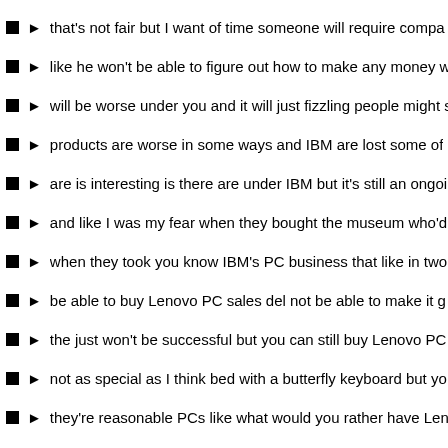that's not fair but I want of time someone will require compa
like he won't be able to figure out how to make any money w
will be worse under you and it will just fizzling people might s
products are worse in some ways and IBM are lost some of
are is interesting is there are under IBM but it's still an ongoi
and like I was my fear when they bought the museum who'd
when they took you know IBM's PC business that like in two
be able to buy Lenovo PC sales del not be able to make it g
the just won't be successful but you can still buy Lenovo PC
not as special as I think bed with a butterfly keyboard but yo
they're reasonable PCs like what would you rather have Len